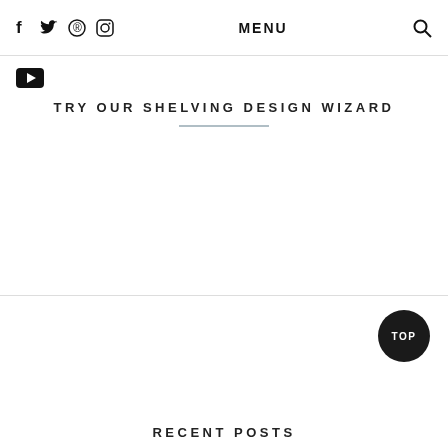f  twitter  pinterest  instagram  MENU  search
[Figure (logo): YouTube play button icon]
TRY OUR SHELVING DESIGN WIZARD
TOP
RECENT POSTS